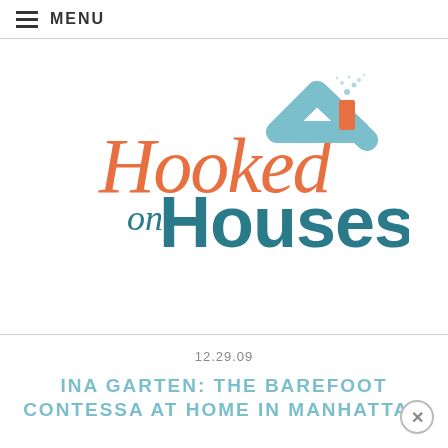≡ MENU
[Figure (logo): Hooked on Houses logo with orange script 'Hooked' text, teal 'on Houses' text, and a house roof graphic with chimney]
12.29.09
INA GARTEN: THE BAREFOOT CONTESSA AT HOME IN MANHATTAN